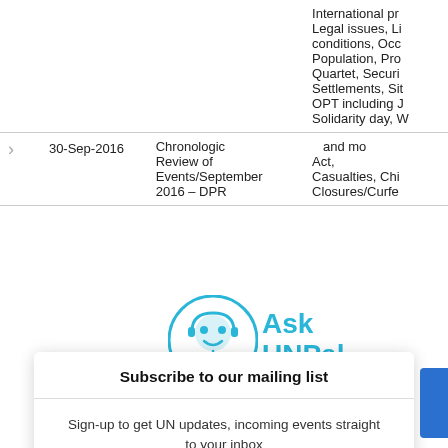|  | Date | Title | Tags |
| --- | --- | --- | --- |
|  |  | International pr... | Legal issues, Li... conditions, Occ... Population, Pro... Quartet, Securi... Settlements, Sit... OPT including J... Solidarity day, W... |
| > | 30-Sep-2016 | Chronological... Review of... Events/September 2016 – DPR | ...and mo... Act,... Casualties, Chi... Closures/Curfe... |
[Figure (logo): AskUNPal chatbot logo with circular icon and text 'Ask UNPal' in cyan/blue color]
Subscribe to our mailing list
Sign-up to get UN updates, incoming events straight to your inbox
SUBSCRIBE!
You can unsubscribe anytime